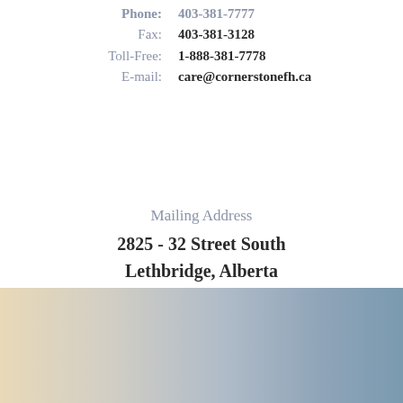Phone: 403-381-7777
Fax: 403-381-3128
Toll-Free: 1-888-381-7778
E-mail: care@cornerstonefh.ca
Mailing Address
2825 - 32 Street South
Lethbridge, Alberta
Canada T1K 7B1
[Figure (photo): Soft gradient background photo showing a blurred warm-toned landscape fading to cool blue-grey sky tones at the bottom of the page.]